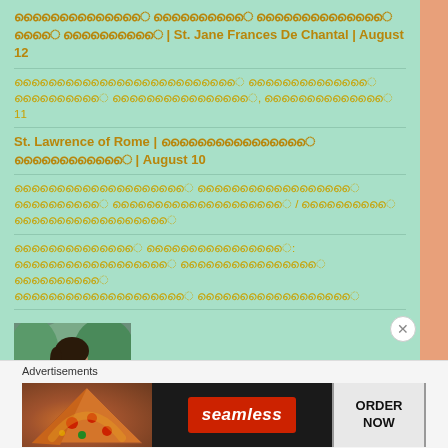ൈൈൈൈൈൈൈ ൈൈൈൈൈ ൈൈൈൈൈൈൈ ൈൈ ൈൈൈൈൈ | St. Jane Frances De Chantal | August 12
ൈൈൈൈൈൈൈൈൈൈൈൈൈ ൈൈൈൈൈൈൈ ൈൈൈൈൈ ൈൈൈൈൈൈൈൈ, ൈൈൈൈൈൈൈ 11
St. Lawrence of Rome | ൈൈൈൈൈൈൈൈ ൈൈൈൈൈൈ | August 10
ൈൈൈൈൈൈൈൈൈൈ ൈൈൈൈൈൈൈൈൈ ൈൈൈൈൈ ൈൈൈൈൈൈൈൈൈൈ / ൈൈൈൈൈ ൈൈൈൈൈൈൈൈൈ
ൈൈൈൈൈൈൈ ൈൈൈൈൈൈൈൈ: ൈൈൈൈൈൈൈൈൈ ൈൈൈൈൈൈൈൈ ൈൈൈൈൈ ൈൈൈൈൈൈൈൈൈൈ ൈൈൈൈൈൈൈൈൈ
[Figure (photo): Profile photo of Leema Emmanuel, a young woman sitting outdoors]
Leema Emmanuel
Mar Thomas Tharayil speech on Catechism | Catechism class | Catechism | Bishop Thomas Tharayil
ൈൈൈൈൈൈൈ ൈൈൈൈൈൈൈൈൈൈൈൈൈ ൈൈൈൈൈൈൈ ൈൈൈൈൈൈൈൈൈൈ ൈൈൈൈൈൈൈൈൈൈ ൈൈൈൈൈൈൈ ...#frjinupallipatt #jinu #motibation
ൈൈൈൈൈൈ ൈൈൈൈൈൈൈ & ൈൈൈൈൈ ൈൈൈൈൈൈൈൈൈൈൈ ൈൈൈൈൈ
Advertisements
[Figure (screenshot): Seamless food delivery advertisement banner with pizza image and ORDER NOW button]